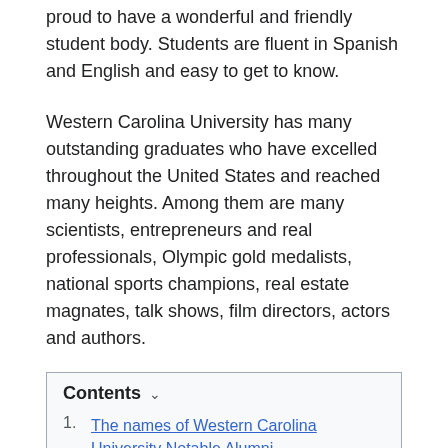proud to have a wonderful and friendly student body. Students are fluent in Spanish and English and easy to get to know.
Western Carolina University has many outstanding graduates who have excelled throughout the United States and reached many heights. Among them are many scientists, entrepreneurs and real professionals, Olympic gold medalists, national sports champions, real estate magnates, talk shows, film directors, actors and authors.
Contents
1. The names of Western Carolina University Notable Alumni
2. What you need to do to become a famous graduate of Western Carolina University Notable Alumni
2.1. Is it worth being proud of the status of